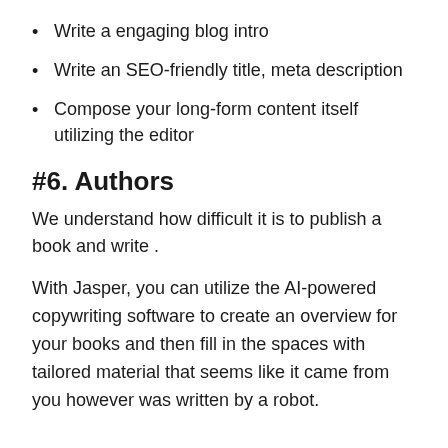Write a engaging blog intro
Write an SEO-friendly title, meta description
Compose your long-form content itself utilizing the editor
#6. Authors
We understand how difficult it is to publish a book and write .
With Jasper, you can utilize the AI-powered copywriting software to create an overview for your books and then fill in the spaces with tailored material that seems like it came from you however was written by a robot.